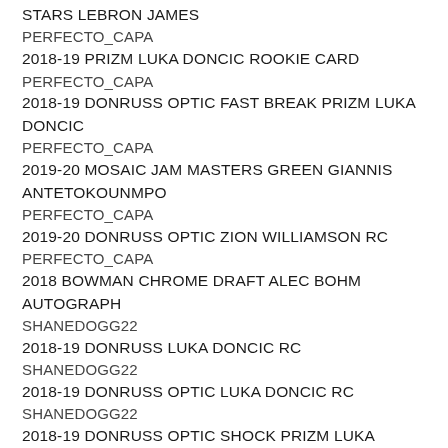STARS LEBRON JAMES
PERFECTO_CAPA
2018-19 PRIZM LUKA DONCIC ROOKIE CARD
PERFECTO_CAPA
2018-19 DONRUSS OPTIC FAST BREAK PRIZM LUKA DONCIC
PERFECTO_CAPA
2019-20 MOSAIC JAM MASTERS GREEN GIANNIS ANTETOKOUNMPO
PERFECTO_CAPA
2019-20 DONRUSS OPTIC ZION WILLIAMSON RC
PERFECTO_CAPA
2018 BOWMAN CHROME DRAFT ALEC BOHM AUTOGRAPH
SHANEDOGG22
2018-19 DONRUSS LUKA DONCIC RC
SHANEDOGG22
2018-19 DONRUSS OPTIC LUKA DONCIC RC
SHANEDOGG22
2018-19 DONRUSS OPTIC SHOCK PRIZM LUKA DONCIC
SHANEDOGG22